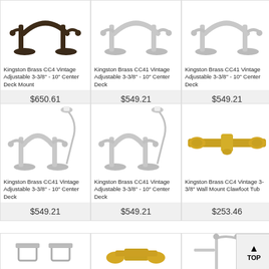[Figure (photo): Kingston Brass CC4 faucet in dark bronze finish]
Kingston Brass CC4 Vintage Adjustable 3-3/8" - 10" Center Deck Mount
$650.61
[Figure (photo): Kingston Brass CC41 faucet in chrome finish]
Kingston Brass CC41 Vintage Adjustable 3-3/8" - 10" Center Deck
$549.21
[Figure (photo): Kingston Brass CC41 faucet in chrome finish]
Kingston Brass CC41 Vintage Adjustable 3-3/8" - 10" Center Deck
$549.21
[Figure (photo): Kingston Brass CC41 faucet with hand shower in chrome]
Kingston Brass CC41 Vintage Adjustable 3-3/8" - 10" Center Deck
$549.21
[Figure (photo): Kingston Brass CC41 faucet with hand shower in chrome]
Kingston Brass CC41 Vintage Adjustable 3-3/8" - 10" Center Deck
$549.21
[Figure (photo): Kingston Brass CC4 wall mount clawfoot tub faucet in brass/gold finish]
Kingston Brass CC4 Vintage 3-3/8" Wall Mount Clawfoot Tub
$253.46
[Figure (photo): Small chrome clamps/rings]
[Figure (photo): Brass tub faucet fixture]
[Figure (photo): Chrome towel bar or tub rail fixture]